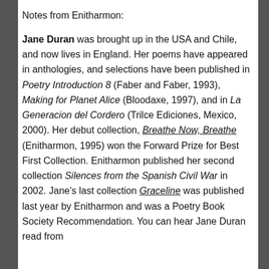Notes from Enitharmon:
Jane Duran was brought up in the USA and Chile, and now lives in England. Her poems have appeared in anthologies, and selections have been published in Poetry Introduction 8 (Faber and Faber, 1993), Making for Planet Alice (Bloodaxe, 1997), and in La Generacion del Cordero (Trilce Ediciones, Mexico, 2000). Her debut collection, Breathe Now, Breathe (Enitharmon, 1995) won the Forward Prize for Best First Collection. Enitharmon published her second collection Silences from the Spanish Civil War in 2002. Jane's last collection Graceline was published last year by Enitharmon and was a Poetry Book Society Recommendation. You can hear Jane Duran read from